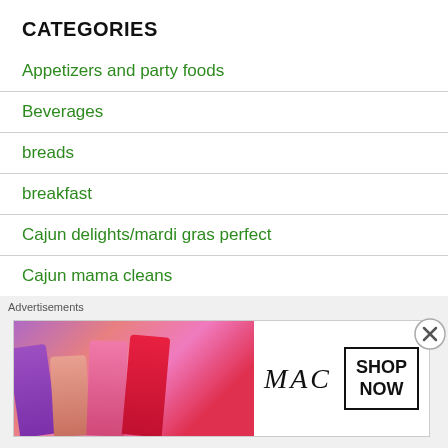CATEGORIES
Appetizers and party foods
Beverages
breads
breakfast
Cajun delights/mardi gras perfect
Cajun mama cleans
Chicken dishes
desserts
Ethnic and spicy
[Figure (illustration): MAC cosmetics advertisement banner showing colorful lipsticks with MAC logo and SHOP NOW button]